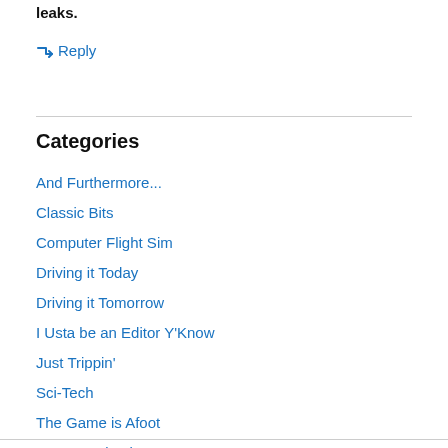leaks.
↳ Reply
Categories
And Furthermore...
Classic Bits
Computer Flight Sim
Driving it Today
Driving it Tomorrow
I Usta be an Editor Y'Know
Just Trippin'
Sci-Tech
The Game is Afoot
Uncategorized
Vintage Aero